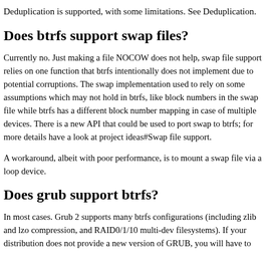Deduplication is supported, with some limitations. See Deduplication.
Does btrfs support swap files?
Currently no. Just making a file NOCOW does not help, swap file support relies on one function that btrfs intentionally does not implement due to potential corruptions. The swap implementation used to rely on some assumptions which may not hold in btrfs, like block numbers in the swap file while btrfs has a different block number mapping in case of multiple devices. There is a new API that could be used to port swap to btrfs; for more details have a look at project ideas#Swap file support.
A workaround, albeit with poor performance, is to mount a swap file via a loop device.
Does grub support btrfs?
In most cases. Grub 2 supports many btrfs configurations (including zlib and lzo compression, and RAID0/1/10 multi-dev filesystems). If your distribution does not provide a new version of GRUB, you will have to...